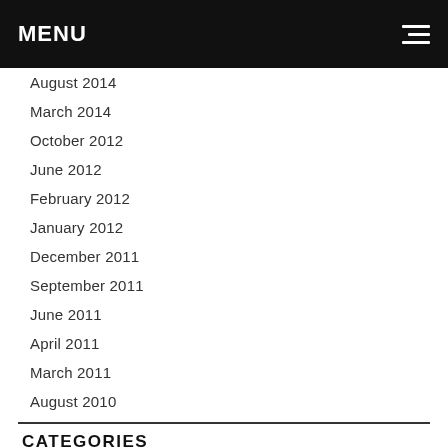MENU
August 2014
March 2014
October 2012
June 2012
February 2012
January 2012
December 2011
September 2011
June 2011
April 2011
March 2011
August 2010
CATEGORIES
Alternative Medicine